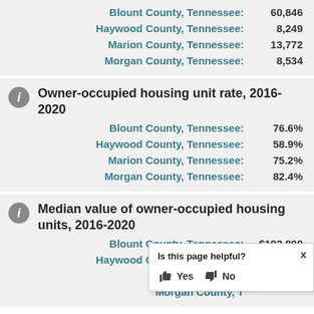| County | Value |
| --- | --- |
| Blount County, Tennessee: | 60,846 |
| Haywood County, Tennessee: | 8,249 |
| Marion County, Tennessee: | 13,772 |
| Morgan County, Tennessee: | 8,534 |
Owner-occupied housing unit rate, 2016-2020
| County | Value |
| --- | --- |
| Blount County, Tennessee: | 76.6% |
| Haywood County, Tennessee: | 58.9% |
| Marion County, Tennessee: | 75.2% |
| Morgan County, Tennessee: | 82.4% |
Median value of owner-occupied housing units, 2016-2020
| County | Value |
| --- | --- |
| Blount County, Tennessee: | $192,800 |
| Haywood County, Tennessee: | $103,600 |
| Marion County, Tennessee: |  |
| Morgan County, Tennessee: |  |